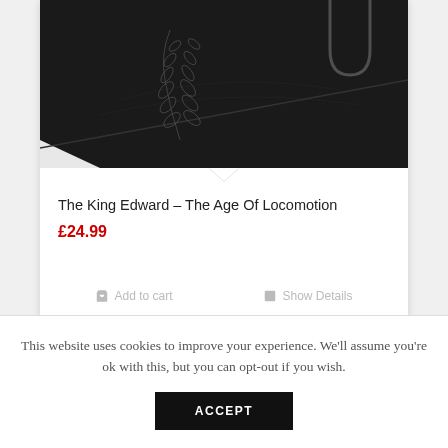[Figure (photo): Dark black surface with engraved laurel wreath and decorative lettering, partial view of The King Edward product]
The King Edward – The Age Of Locomotion
£24.99
Add to cart   Show Details
This website uses cookies to improve your experience. We'll assume you're ok with this, but you can opt-out if you wish.
ACCEPT